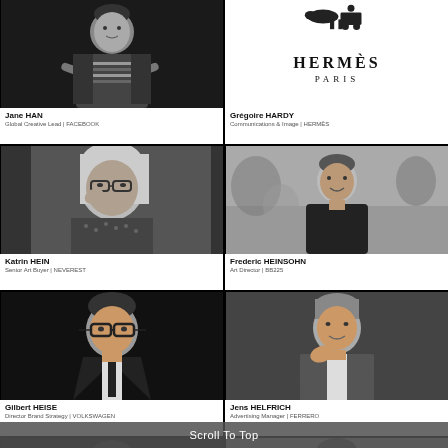[Figure (photo): Black and white photo of Jane HAN, a woman with short dark hair, arms crossed, wearing striped top and dark jacket]
Jane HAN
Global Creative Lead | FACEBOOK
[Figure (logo): Hermès Paris logo with horse and carriage illustration]
Grégoire HARDY
Communications & Image | HERMÈS
[Figure (photo): Black and white photo of Katrin HEIN, a blonde woman holding glasses up to her face]
Katrin HEIN
Senior Art Buyer | NEVEREST
[Figure (photo): Black and white photo of Frederic HEINSOHN, a young man outdoors]
Frederic HEINSOHN
Art Director | BB225
[Figure (photo): Black and white photo of Gilbert HEISE, a man with glasses wearing a suit and tie]
Gilbert HEISE
Director Brand Strategy | VOLKSWAGEN
[Figure (photo): Black and white photo of Jens HELFRICH, a man in a suit jacket, hand near chin]
Jens HELFRICH
Advertising Manager | FERRERO
[Figure (photo): Partial black and white photo of a person, bottom of page]
[Figure (photo): Partial greyscale photo of a person, bottom of page]
Scroll To Top